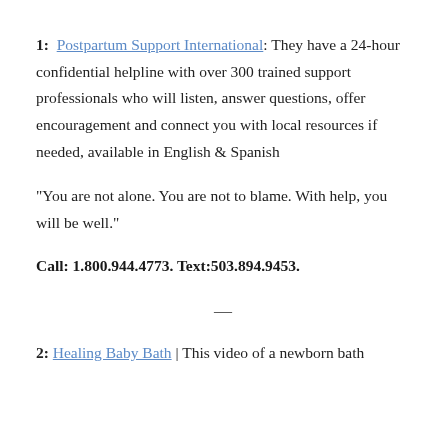1: Postpartum Support International: They have a 24-hour confidential helpline with over 300 trained support professionals who will listen, answer questions, offer encouragement and connect you with local resources if needed, available in English & Spanish
"You are not alone. You are not to blame. With help, you will be well."
Call: 1.800.944.4773. Text:503.894.9453.
2: Healing Baby Bath | This video of a newborn bath